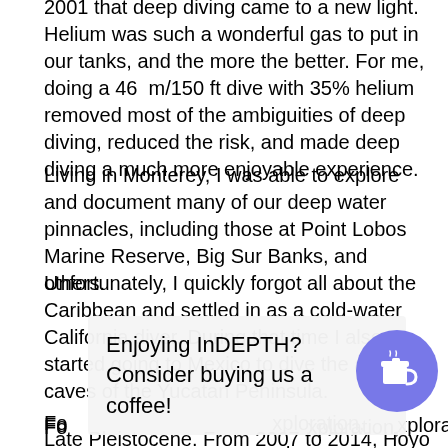2001 that deep diving came to a new light. Helium was such a wonderful gas to put in our tanks, and the more the better. For me, doing a 46 m/150 ft dive with 35% helium removed most of the ambiguities of deep diving, reduced the risk, and made deep diving a much more enjoyable experience.
Living in Monterey, I was able to explore and document many of our deep water pinnacles, including those at Point Lobos Marine Reserve, Big Sur Banks, and others.
Unfortunately, I quickly forgot all about the Caribbean and settled in as a cold-water California diver. During that time I also started going to Mexico to dive the amazing caves of the Yucatan Peninsula.
Fo[r...] exploration, and[...] nd a[...] am[...] fro[m...]
[Figure (infographic): Overlay banner reading 'Enjoying InDEPTH? Consider buying us a coffee!' with a blue circular coffee cup button on the right.]
Late Pleistocene. From 2007 to 2014, Hoyo Negro,